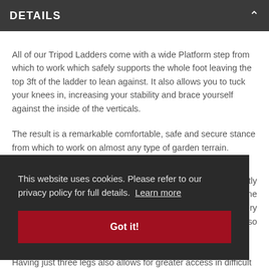DETAILS
All of our Tripod Ladders come with a wide Platform step from which to work which safely supports the whole foot leaving the top 3ft of the ladder to lean against. It also allows you to tuck your knees in, increasing your stability and brace yourself against the inside of the verticals.
The result is a remarkable comfortable, safe and secure stance from which to work on almost any type of garden terrain.
This website uses cookies. Please refer to our privacy policy for full details. Learn more
Got it!
Having just three legs also allows for greater access in difficult